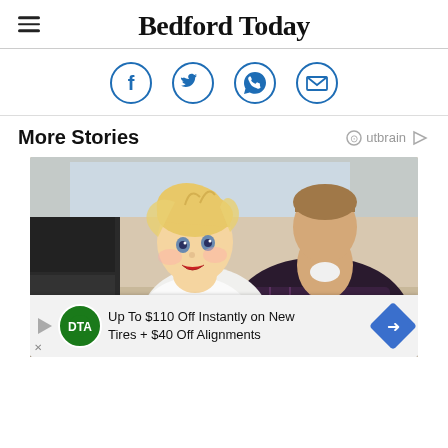Bedford Today
[Figure (infographic): Social sharing icons: Facebook, Twitter, WhatsApp, Email — all in blue circle outlines]
More Stories
[Figure (photo): A young blonde toddler girl and a man in a plaid shirt smiling together, appearing to be doing an activity at a kitchen table]
Up To $110 Off Instantly on New Tires + $40 Off Alignments